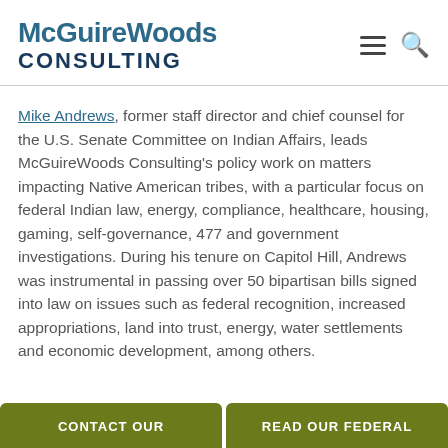McGuireWoods CONSULTING
Mike Andrews, former staff director and chief counsel for the U.S. Senate Committee on Indian Affairs, leads McGuireWoods Consulting's policy work on matters impacting Native American tribes, with a particular focus on federal Indian law, energy, compliance, healthcare, housing, gaming, self-governance, 477 and government investigations. During his tenure on Capitol Hill, Andrews was instrumental in passing over 50 bipartisan bills signed into law on issues such as federal recognition, increased appropriations, land into trust, energy, water settlements and economic development, among others.
CONTACT OUR | READ OUR FEDERAL